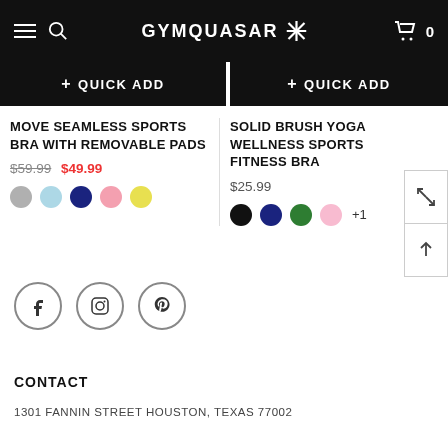GYMQUASAR
+ QUICK ADD  |  + QUICK ADD
MOVE SEAMLESS SPORTS BRA WITH REMOVABLE PADS
$59.99  $49.99
SOLID BRUSH YOGA WELLNESS SPORTS FITNESS BRA
$25.99
[Figure (other): Social media icons: Facebook, Instagram, Pinterest]
CONTACT
1301 FANNIN STREET HOUSTON, TEXAS 77002